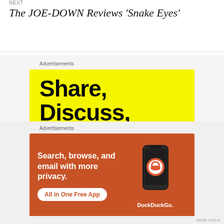NEXT
The JOE-DOWN Reviews 'Snake Eyes'
[Figure (infographic): Yellow advertisement banner with bold black text reading 'Share, Discuss, Collaborate,']
[Figure (infographic): DuckDuckGo advertisement on orange/red background with text 'Search, browse, and email with more privacy. All in One Free App' and phone graphic with DuckDuckGo logo]